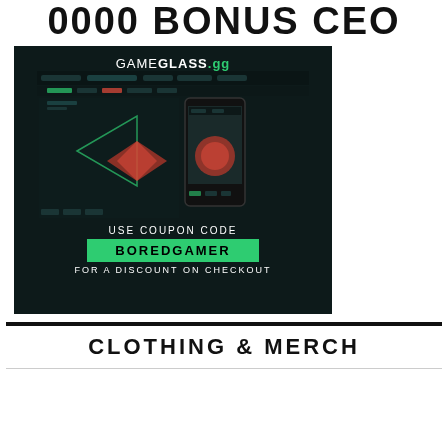0000 BONUS CEO
[Figure (screenshot): GameGlass.gg promotional image on dark background showing a gaming interface/app UI mockup with desktop and mobile views, a coupon code section reading 'USE COUPON CODE BOREDGAMER FOR A DISCOUNT ON CHECKOUT']
CLOTHING & MERCH